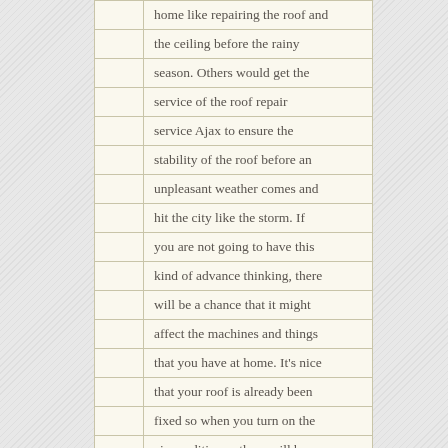home like repairing the roof and the ceiling before the rainy season. Others would get the service of the roof repair service Ajax to ensure the stability of the roof before an unpleasant weather comes and hit the city like the storm. If you are not going to have this kind of advance thinking, there will be a chance that it might affect the machines and things that you have at home. It's nice that your roof is already been fixed so when you turn on the air conditioner, there will be no problem and nowhere for the air